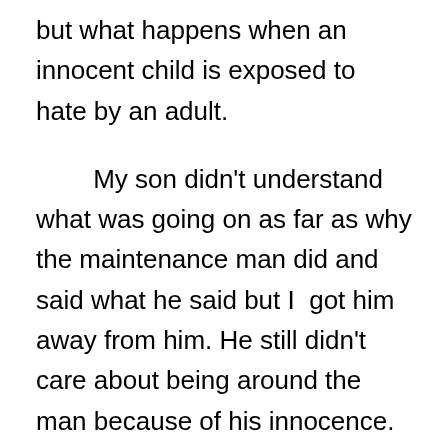but what happens when an innocent child is exposed to hate by an adult.
My son didn't understand what was going on as far as why the maintenance man did and said what he said but I got him away from him. He still didn't care about being around the man because of his innocence. He is taught love but this world is filled with hate.
I realize in the end my apologies wasn't really to the man but towards his action and word. It was because I felt sorry for him and the judgement he